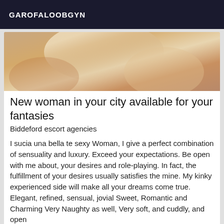GAROFALOOBGYN
[Figure (photo): Close-up photo used as escort advertisement image]
New woman in your city available for your fantasies
Biddeford escort agencies
I sucia una bella te sexy Woman, I give a perfect combination of sensuality and luxury. Exceed your expectations. Be open with me about, your desires and role-playing. In fact, the fulfillment of your desires usually satisfies the mine. My kinky experienced side will make all your dreams come true. Elegant, refined, sensual, jovial Sweet, Romantic and Charming Very Naughty as well, Very soft, and cuddly, and open
Online